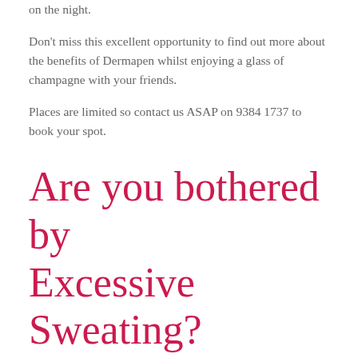on the night.
Don't miss this excellent opportunity to find out more about the benefits of Dermapen whilst enjoying a glass of champagne with your friends.
Places are limited so contact us ASAP on 9384 1737 to book your spot.
Are you bothered by Excessive Sweating?
April 11, 2014  /  in Latest news  /  by
Is it barely tolerable and frequently interferes with